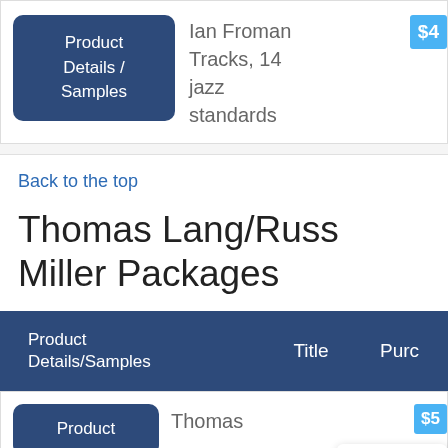[Figure (screenshot): Product Details / Samples button (dark blue rounded rectangle)]
Ian Froman Tracks, 14 jazz standards
$4
Back to the top
Thomas Lang/Russ Miller Packages
| Product Details/Samples | Title | Purc |
| --- | --- | --- |
| Product | Thomas... | $5 |
Message